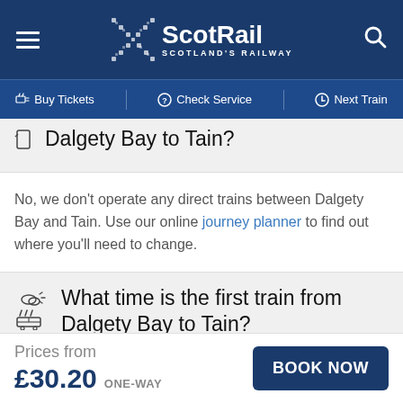[Figure (logo): ScotRail Scotland's Railway logo with X mark in dark blue header with hamburger menu and search icon]
Buy Tickets | Check Service | Next Train
Dalgety Bay to Tain?
No, we don't operate any direct trains between Dalgety Bay and Tain. Use our online journey planner to find out where you'll need to change.
What time is the first train from Dalgety Bay to Tain?
Prices from £30.20 ONE-WAY
BOOK NOW